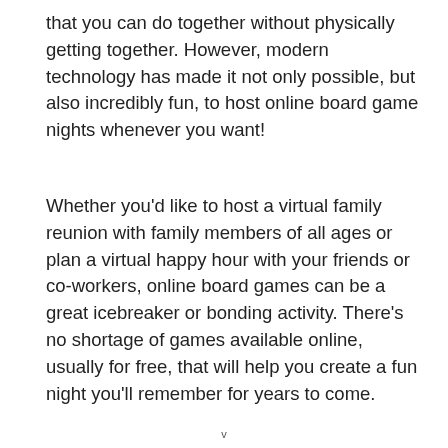that you can do together without physically getting together. However, modern technology has made it not only possible, but also incredibly fun, to host online board game nights whenever you want!
Whether you'd like to host a virtual family reunion with family members of all ages or plan a virtual happy hour with your friends or co-workers, online board games can be a great icebreaker or bonding activity. There's no shortage of games available online, usually for free, that will help you create a fun night you'll remember for years to come.
v